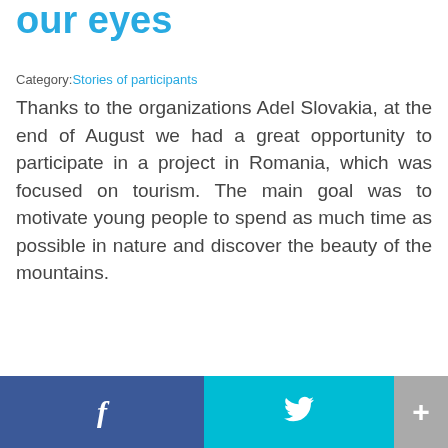our eyes
Category:Stories of participants
Thanks to the organizations Adel Slovakia, at the end of August we had a great opportunity to participate in a project in Romania, which was focused on tourism. The main goal was to motivate young people to spend as much time as possible in nature and discover the beauty of the mountains.
Read More
[Figure (infographic): Social sharing bar with Facebook (dark blue), Twitter (cyan), and a plus/more button (gray)]